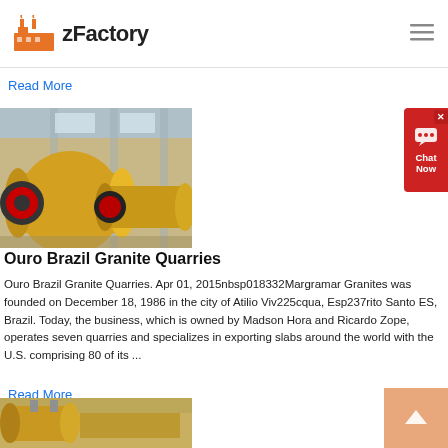zFactory
Read More
[Figure (photo): Industrial yellow ball mills lined up in a factory warehouse]
[Figure (other): Chat Now widget button in red]
Ouro Brazil Granite Quarries
Ouro Brazil Granite Quarries. Apr 01, 2015nbsp018332Margramar Granites was founded on December 18, 1986 in the city of Atilio Viv225cqua, Esp237rito Santo ES, Brazil. Today, the business, which is owned by Madson Hora and Ricardo Zope, operates seven quarries and specializes in exporting slabs around the world with the U.S. comprising 80 of its ...
Read More
[Figure (photo): Partial view of industrial machinery in a factory]